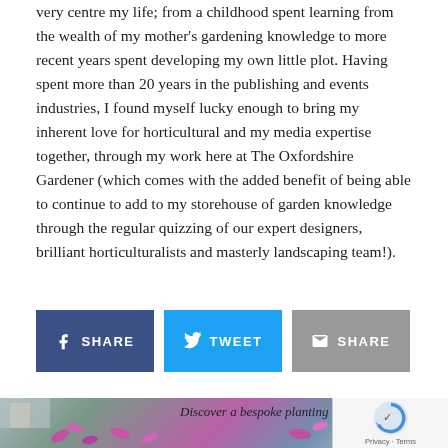very centre my life; from a childhood spent learning from the wealth of my mother's gardening knowledge to more recent years spent developing my own little plot. Having spent more than 20 years in the publishing and events industries, I found myself lucky enough to bring my inherent love for horticultural and my media expertise together, through my work here at The Oxfordshire Gardener (which comes with the added benefit of being able to continue to add to my storehouse of garden knowledge through the regular quizzing of our expert designers, brilliant horticulturalists and masterly landscaping team!).
[Figure (infographic): Three social sharing buttons: Facebook SHARE (dark blue), Twitter TWEET (blue), Email SHARE (grey)]
[Figure (photo): Bottom banner with garden/floral photo and text: 'Discover a bespoke planting scheme, designed ju...' with reCAPTCHA overlay]